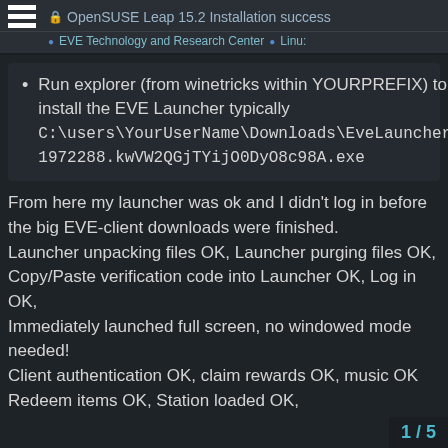OpenSUSE Leap 15.2 Installation success
EVE Technology and Research Center  Linux
Run explorer (from winetricks within YOURPREFIX) to install the EVE Launcher typically C:\users\YourUserName\Downloads\EveLauncher-1972288.kwVW2QGjTYijO0DyO8c98A.exe
From here my launcher was ok and I didn't log in before the big EVE-client downloads were finished.
Launcher unpacking files OK, Launcher purging files OK, Copy/Paste verification code into Launcher OK, Log in OK,
Immediately launched full screen, no windowed mode needed!
Client authentication OK, claim rewards OK, music OK
Redeem items OK, Station loaded OK,
1 / 5